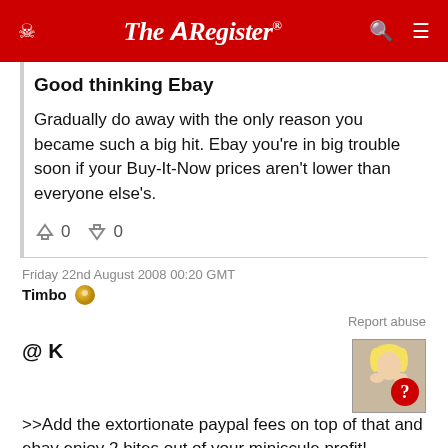The Register
Good thinking Ebay
Gradually do away with the only reason you became such a big hit. Ebay you're in big trouble soon if your Buy-It-Now prices aren't lower than everyone else's.
0  0
Friday 22nd August 2008 00:20 GMT
Timbo
Report abuse
@ K
[Figure (photo): Avatar image of a woman with a question mark]
>>Add the extortionate paypal fees on top of that and ebay enjoy 2 bites out of your miniscule profit!

So, you must be a reseller....!!